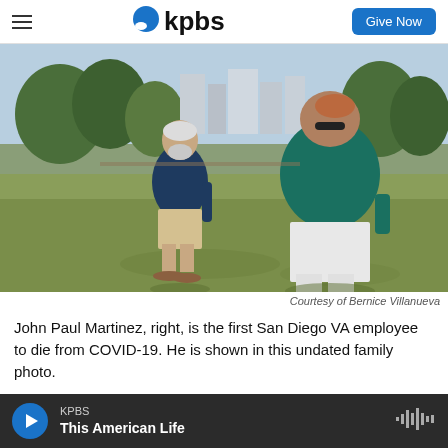KPBS — Give Now
[Figure (photo): Two men standing outdoors on a grassy area. The man on the left wears a dark blue shirt and beige shorts with sandals. The man on the right wears a teal/green polo shirt and white pants. Trees and city buildings are visible in the background. Bright sunny day.]
Courtesy of Bernice Villanueva
John Paul Martinez, right, is the first San Diego VA employee to die from COVID-19. He is shown in this undated family photo.
KPBS — This American Life